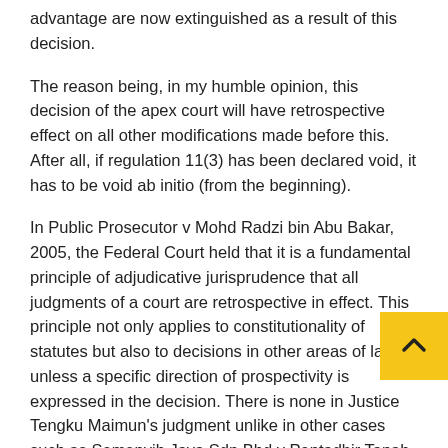advantage are now extinguished as a result of this decision.
The reason being, in my humble opinion, this decision of the apex court will have retrospective effect on all other modifications made before this. After all, if regulation 11(3) has been declared void, it has to be void ab initio (from the beginning).
In Public Prosecutor v Mohd Radzi bin Abu Bakar, 2005, the Federal Court held that it is a fundamental principle of adjudicative jurisprudence that all judgments of a court are retrospective in effect. This principle not only applies to constitutionality of statutes but also to decisions in other areas of law unless a specific direction of prospectivity is expressed in the decision. There is none in Justice Tengku Maimun's judgment unlike in other cases such as Semenyih Jaya Sdn Bhd v Pentadbir Tanah Daerah Hulu Langat and Anor, 2017.
It is my considered view that if henceforth no